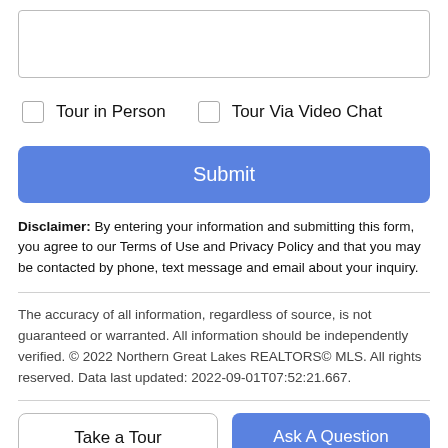[Figure (screenshot): Empty textarea input field for form submission]
Tour in Person
Tour Via Video Chat
Submit
Disclaimer: By entering your information and submitting this form, you agree to our Terms of Use and Privacy Policy and that you may be contacted by phone, text message and email about your inquiry.
The accuracy of all information, regardless of source, is not guaranteed or warranted. All information should be independently verified. © 2022 Northern Great Lakes REALTORS© MLS. All rights reserved. Data last updated: 2022-09-01T07:52:21.667.
Take a Tour
Ask A Question